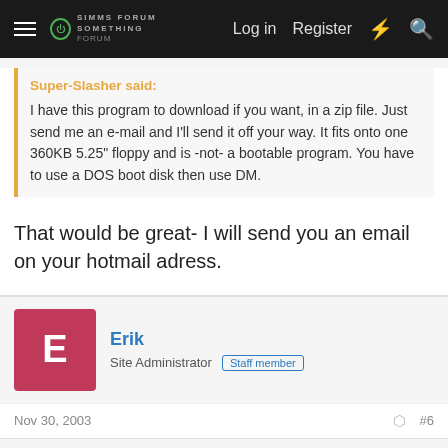Log in  Register
Super-Slasher said:
I have this program to download if you want, in a zip file. Just send me an e-mail and I'll send it off your way. It fits onto one 360KB 5.25" floppy and is -not- a bootable program. You have to use a DOS boot disk then use DM.
That would be great- I will send you an email on your hotmail adress.
Erik
Site Administrator  Staff member
Nov 30, 2003  #6
Jorg said:
(what does CMI mean?)